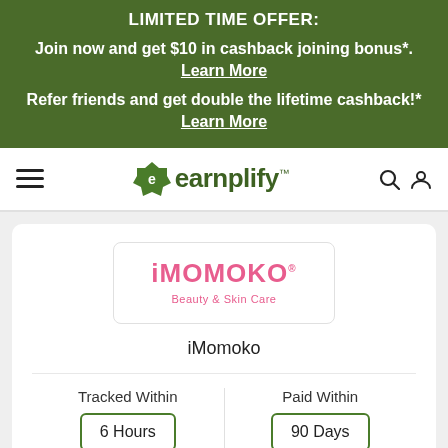LIMITED TIME OFFER:
Join now and get $10 in cashback joining bonus*. Learn More
Refer friends and get double the lifetime cashback!* Learn More
earnplify™ navigation bar with hamburger menu, search and user icons
[Figure (logo): iMomoko Beauty & Skin Care logo in a bordered box]
iMomoko
| Tracked Within | Paid Within |
| --- | --- |
| 6 Hours | 90 Days |
Missing Cashback Claim: Allowed